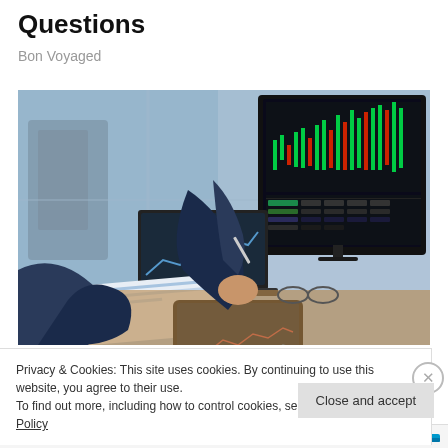Questions
Bon Voyaged
[Figure (photo): Two business people in suits reviewing financial charts and data on multiple screens including a large monitor showing stock market trading data, a laptop, and a tablet, sitting at a wooden desk near glass windows in an office environment.]
Privacy & Cookies: This site uses cookies. By continuing to use this website, you agree to their use.
To find out more, including how to control cookies, see here: Cookie Policy
Close and accept